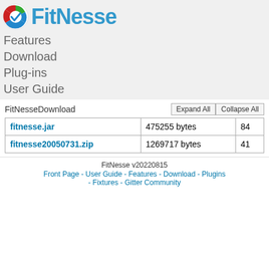[Figure (logo): FitNesse logo: circular icon with red, green, blue segments and a white checkmark, followed by 'FitNesse' in bold blue text]
Features
Download
Plug-ins
User Guide
| FitNesseDownload |  | Expand All | Collapse All |
| --- | --- | --- | --- |
| fitnesse.jar | 475255 bytes | 84 |
| fitnesse20050731.zip | 1269717 bytes | 41 |
FitNesse v20220815
Front Page - User Guide - Features - Download - Plugins - Fixtures - Gitter Community